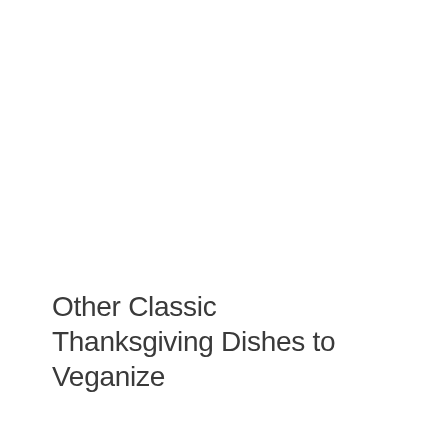Other Classic Thanksgiving Dishes to Veganize